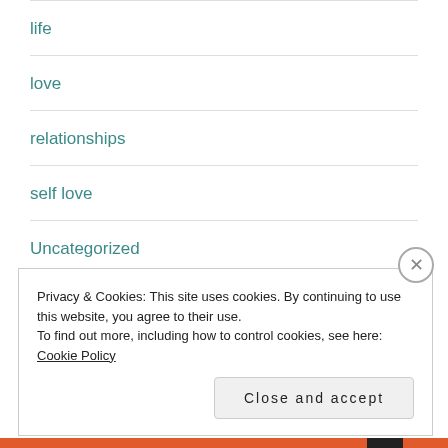life
love
relationships
self love
Uncategorized
Privacy & Cookies: This site uses cookies. By continuing to use this website, you agree to their use.
To find out more, including how to control cookies, see here: Cookie Policy
Close and accept